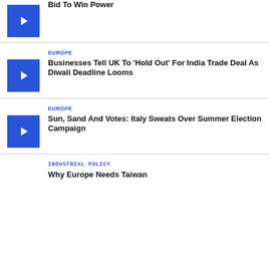Bid To Win Power
[Figure (other): Blue video thumbnail play button]
EUROPE
Businesses Tell UK To 'Hold Out' For India Trade Deal As Diwali Deadline Looms
[Figure (other): Blue video thumbnail play button]
EUROPE
Sun, Sand And Votes: Italy Sweats Over Summer Election Campaign
[Figure (other): Blue video thumbnail play button]
INDUSTRIAL POLICY
Why Europe Needs Taiwan